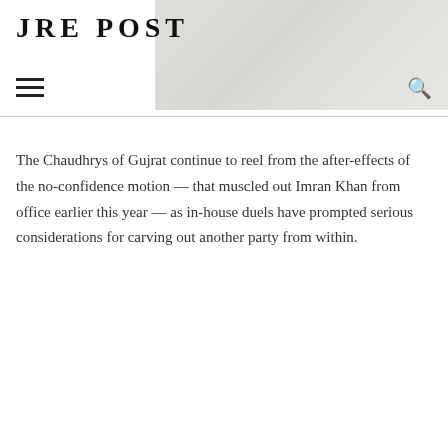JRE POST
[Figure (photo): Faded background photo of people or crowd visible in the upper right area of the header]
The Chaudhrys of Gujrat continue to reel from the after-effects of the no-confidence motion — that muscled out Imran Khan from office earlier this year — as in-house duels have prompted serious considerations for carving out another party from within.